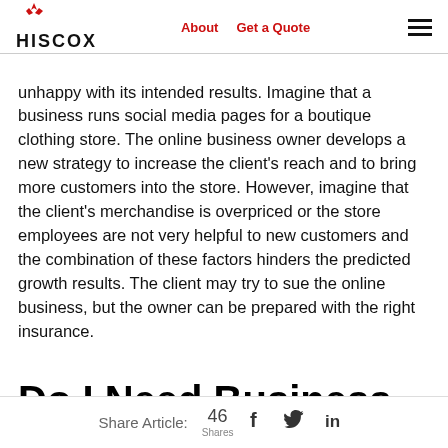HISCOX | About | Get a Quote
unhappy with its intended results. Imagine that a business runs social media pages for a boutique clothing store. The online business owner develops a new strategy to increase the client's reach and to bring more customers into the store. However, imagine that the client's merchandise is overpriced or the store employees are not very helpful to new customers and the combination of these factors hinders the predicted growth results. The client may try to sue the online business, but the owner can be prepared with the right insurance.
Do I Need Business
Share Article: 46 Shares